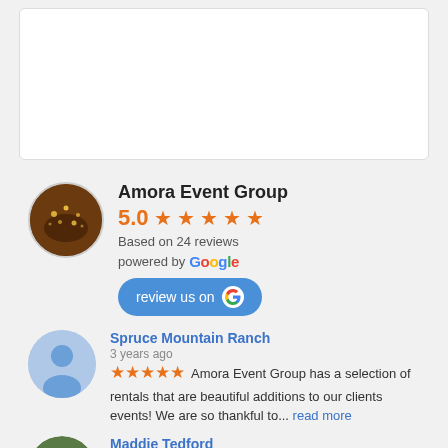[Figure (photo): White rectangular box at top of page (decorative/placeholder image area)]
Amora Event Group
5.0 ★★★★★
Based on 24 reviews
powered by Google
review us on G
Spruce Mountain Ranch
3 years ago
★★★★★ Amora Event Group has a selection of rentals that are beautiful additions to our clients events! We are so thankful to... read more
Maddie Tedford
4 years ago
★★★★★ Working with Jake and the team at Amora